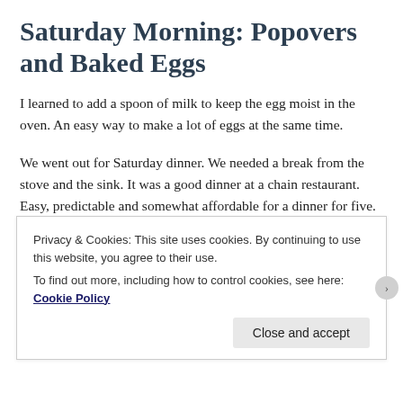Saturday Morning: Popovers and Baked Eggs
I learned to add a spoon of milk to keep the egg moist in the oven. An easy way to make a lot of eggs at the same time.
We went out for Saturday dinner. We needed a break from the stove and the sink. It was a good dinner at a chain restaurant. Easy, predictable and somewhat affordable for a dinner for five. I know, not very “foodie” of us. Not-red Red velvet cupcakes taught me to not
Privacy & Cookies: This site uses cookies. By continuing to use this website, you agree to their use.
To find out more, including how to control cookies, see here: Cookie Policy
Close and accept